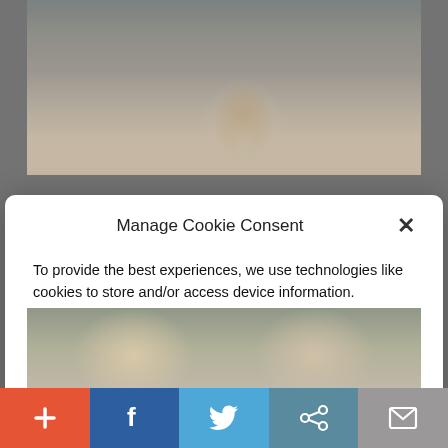[Figure (photo): Man speaking into microphone at outdoor event, pointing finger, crowd in background]
Manage Cookie Consent
To provide the best experiences, we use technologies like cookies to store and/or access device information. Consenting to these technologies will allow us to process data such as website statistics. Not consenting or withdrawing consent, may adversely affect certain features and functions.
Accept
Cookie Policy  Privacy Policy
[Figure (photo): Two politicians side by side at bottom of page]
+ f Twitter share email